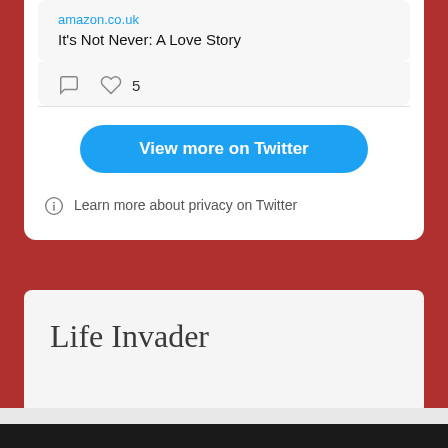amazon.co.uk
It's Not Never: A Love Story
[Figure (screenshot): Tweet interaction icons: comment bubble and heart with count 5]
View more on Twitter
Learn more about privacy on Twitter
Life Invader